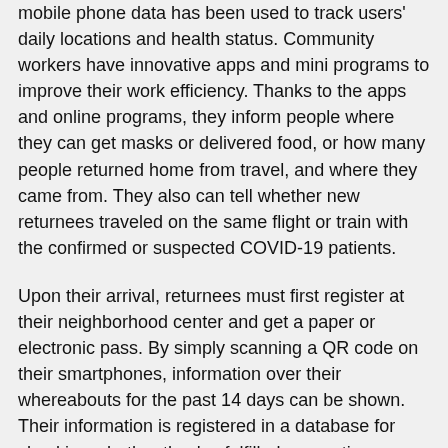mobile phone data has been used to track users' daily locations and health status. Community workers have innovative apps and mini programs to improve their work efficiency. Thanks to the apps and online programs, they inform people where they can get masks or delivered food, or how many people returned home from travel, and where they came from. They also can tell whether new returnees traveled on the same flight or train with the confirmed or suspected COVID-19 patients.
Upon their arrival, returnees must first register at their neighborhood center and get a paper or electronic pass. By simply scanning a QR code on their smartphones, information over their whereabouts for the past 14 days can be shown. Their information is registered in a database for checking whether they've fulfilled quarantine requirements.
Some Chinese high-tech companies are now providing free AI and big data analysis services for the public.
Alibaba's global research program DAMO (Discovery, Adventure, Momentum, and Outlook) Academy used a